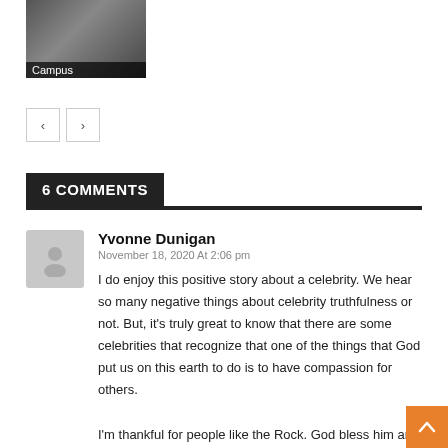[Figure (photo): Soccer/football players on a field, thumbnail image with 'Campus' label overlay]
6 COMMENTS
Yvonne Dunigan
November 18, 2020 At 2:06 pm
I do enjoy this positive story about a celebrity. We hear so many negative things about celebrity truthfulness or not. But, it's truly great to know that there are some celebrities that recognize that one of the things that God put us on this earth to do is to have compassion for others.
I'm thankful for people like the Rock. God bless him and his family. This article really put a smile